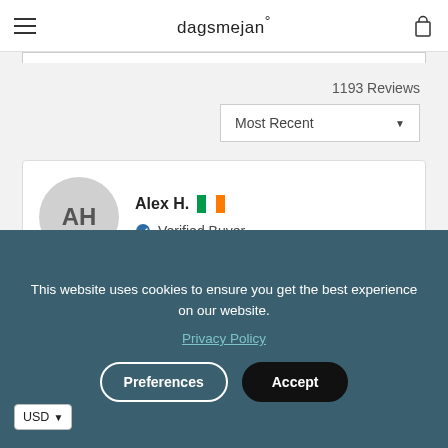dagsmejan°
1193 Reviews
Most Recent
AH
Alex H. — Verified Buyer
Reviewing
This website uses cookies to ensure you get the best experience on our website.
Privacy Policy
Preferences
Accept
USD